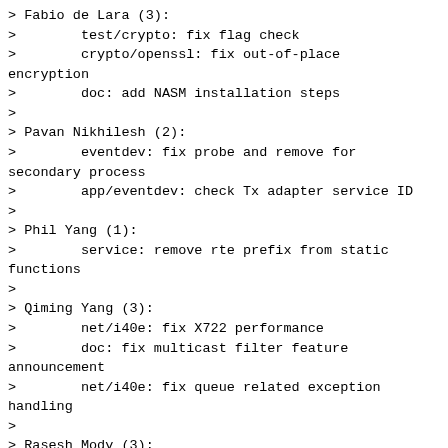> Fabio de Lara (3):
>        test/crypto: fix flag check
>        crypto/openssl: fix out-of-place encryption
>        doc: add NASM installation steps
>
> Pavan Nikhilesh (2):
>        eventdev: fix probe and remove for secondary process
>        app/eventdev: check Tx adapter service ID
>
> Phil Yang (1):
>        service: remove rte prefix from static functions
>
> Qiming Yang (3):
>        net/i40e: fix X722 performance
>        doc: fix multicast filter feature announcement
>        net/i40e: fix queue related exception handling
>
> Rasesh Mody (3):
>        net/qede: fix link state configuration
>        net/qede: fix port reconfiguration
>        examples/kni: fix MTU change to setup Tx queue
>
> Raslan Darawsheh (3):
>        net/mlx5: fix validation of VXLAN/VXLAN-GPE specs